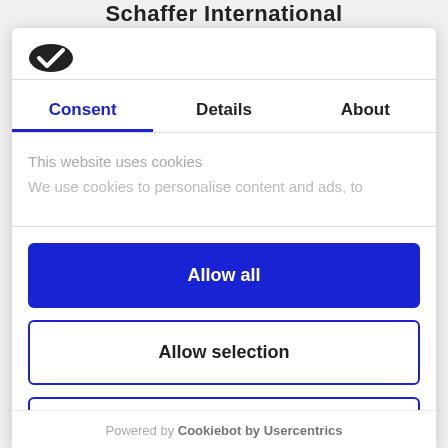Schaffer International
[Figure (logo): Cookie/checkmark logo icon - dark oval shape with a white checkmark]
Consent | Details | About
This website uses cookies
We use cookies to personalise content and ads, to
Allow all
Allow selection
Deny
Powered by Cookiebot by Usercentrics